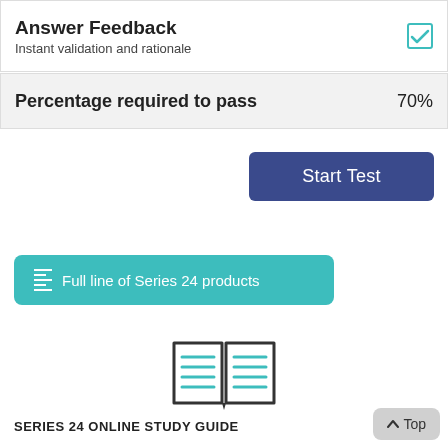Answer Feedback
Instant validation and rationale
Percentage required to pass    70%
Start Test
Full line of Series 24 products
[Figure (illustration): Open book icon with teal horizontal lines on pages, dark outline]
SERIES 24 ONLINE STUDY GUIDE
Top